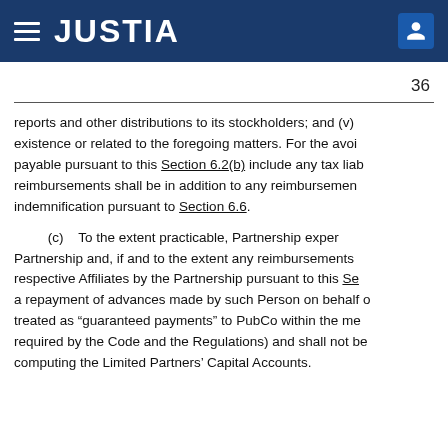JUSTIA
36
reports and other distributions to its stockholders; and (v) existence or related to the foregoing matters. For the avoidance of doubt, the amounts payable pursuant to this Section 6.2(b) include any tax liabilities, and such reimbursements shall be in addition to any reimbursements or indemnification pursuant to Section 6.6.
(c)    To the extent practicable, Partnership expenses shall be billed directly to the Partnership and, if and to the extent any reimbursements are made to PubCo or its respective Affiliates by the Partnership pursuant to this Section 6.2, such amounts shall be a repayment of advances made by such Person on behalf of the Partnership and shall not be treated as "guaranteed payments" to PubCo within the meaning of Section 707(c) of the Code (as required by the Code and the Regulations) and shall not be taken into account in computing the Limited Partners' Capital Accounts.